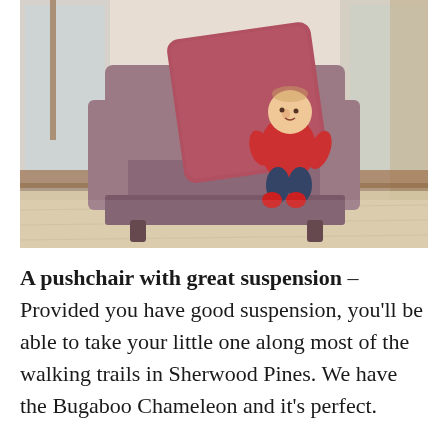[Figure (photo): A baby in a red outfit sitting in a large dark brown/mauve upholstered armchair with a large red cushion behind it, in a room with wooden floors and large windows.]
A pushchair with great suspension – Provided you have good suspension, you'll be able to take your little one along most of the walking trails in Sherwood Pines. We have the Bugaboo Chameleon and it's perfect.